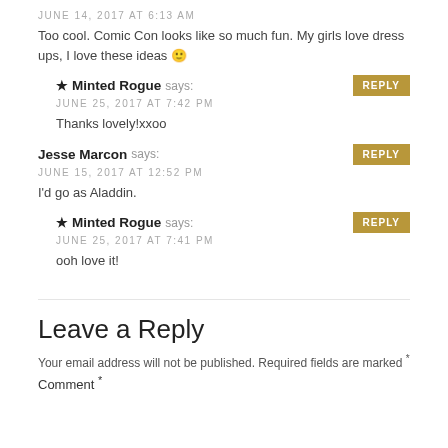JUNE 14, 2017 AT 6:13 AM
Too cool. Comic Con looks like so much fun. My girls love dress ups, I love these ideas 🙂
★ Minted Rogue says: REPLY | JUNE 25, 2017 AT 7:42 PM
Thanks lovely!xxoo
Jesse Marcon says: REPLY | JUNE 15, 2017 AT 12:52 PM
I'd go as Aladdin.
★ Minted Rogue says: REPLY | JUNE 25, 2017 AT 7:41 PM
ooh love it!
Leave a Reply
Your email address will not be published. Required fields are marked *
Comment *